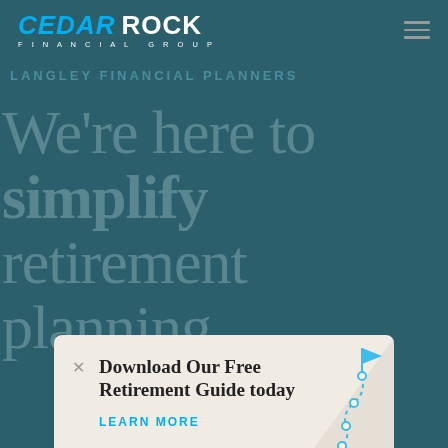[Figure (logo): Cedar Rock Financial Group logo with CEDAR in blue italic and ROCK in white bold, FINANCIAL GROUP in small white spaced capitals below]
We're here to simplify retirement planning
LANGLEY FINANCIAL PLANNERS
Download Our Free Retirement Guide today
LEARN MORE